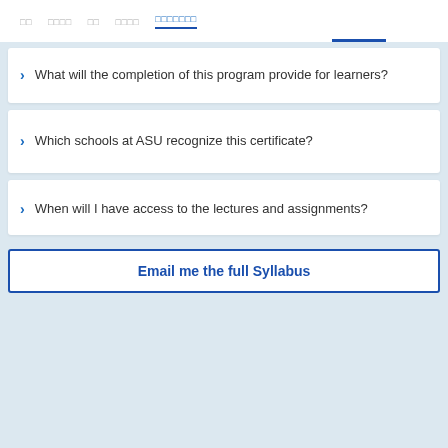□□   □□□□   □□   □□□□   □□□□□□□
What will the completion of this program provide for learners?
Which schools at ASU recognize this certificate?
When will I have access to the lectures and assignments?
Email me the full Syllabus